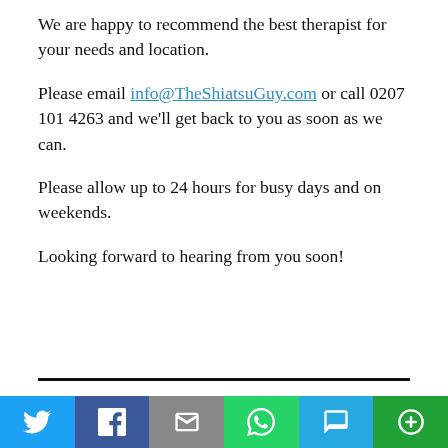We are happy to recommend the best therapist for your needs and location.
Please email info@TheShiatsuGuy.com or call 0207 101 4263 and we'll get back to you as soon as we can.
Please allow up to 24 hours for busy days and on weekends.
Looking forward to hearing from you soon!
[Figure (infographic): Social sharing bar with icons for Twitter, Facebook, Email, WhatsApp, SMS, and More options]